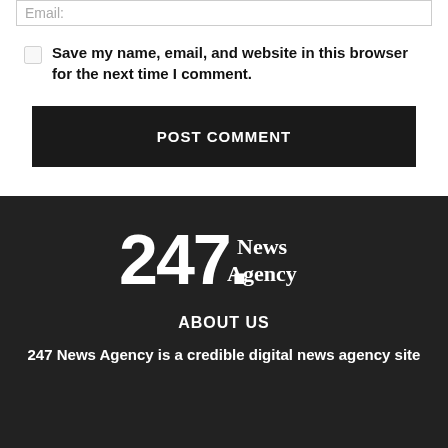Email:
Save my name, email, and website in this browser for the next time I comment.
POST COMMENT
[Figure (logo): 247 News Agency logo in white on dark background]
ABOUT US
247 News Agency is a credible digital news agency site